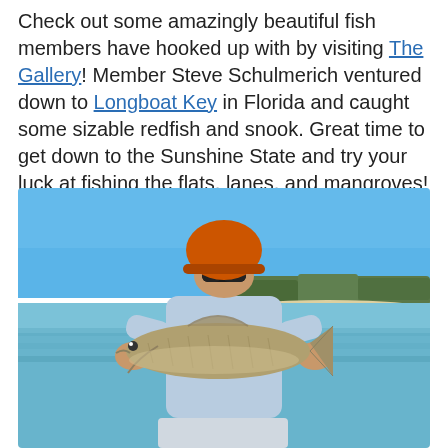Check out some amazingly beautiful fish members have hooked up with by visiting The Gallery! Member Steve Schulmerich ventured down to Longboat Key in Florida and caught some sizable redfish and snook. Great time to get down to the Sunshine State and try your luck at fishing the flats, lanes, and mangroves!
[Figure (photo): A person wearing an orange baseball cap and blue long-sleeve shirt holding a large redfish on a boat with water, a sandy shoreline, and trees visible in the background under a clear blue sky.]